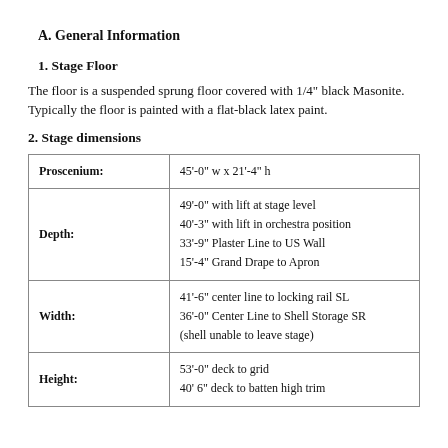A. General Information
1. Stage Floor
The floor is a suspended sprung floor covered with 1/4" black Masonite. Typically the floor is painted with a flat-black latex paint.
2. Stage dimensions
|  |  |
| --- | --- |
| Proscenium: | 45'-0" w x 21'-4" h |
| Depth: | 49'-0" with lift at stage level
40'-3" with lift in orchestra position
33'-9" Plaster Line to US Wall
15'-4" Grand Drape to Apron |
| Width: | 41'-6" center line to locking rail SL
36'-0" Center Line to Shell Storage SR
(shell unable to leave stage) |
| Height: | 53'-0" deck to grid
40' 6" deck to batten high trim |